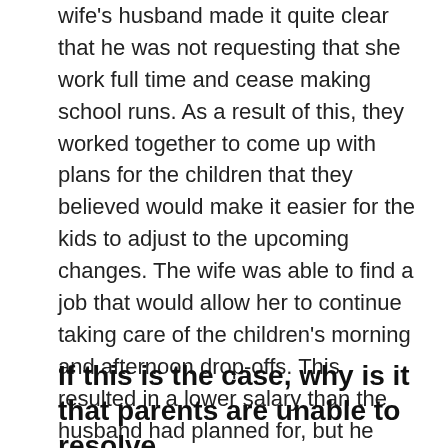wife's husband made it quite clear that he was not requesting that she work full time and cease making school runs. As a result of this, they worked together to come up with plans for the children that they believed would make it easier for the kids to adjust to the upcoming changes. The wife was able to find a job that would allow her to continue taking care of the children's morning and afternoon drop-offs. This resulted in a lower salary than the husband had planned for, but he was still able to cut back a little bit on his hours (and work from home once a week), which allowed him to pick up the kids from school twice a week. They were attentive and made concessions in order to save the youngsters any pain.
If this is the case, why is it that parents are unable to resolve